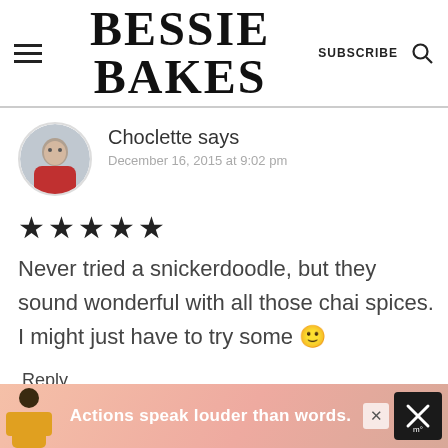BESSIE BAKES — SUBSCRIBE
Choclette says
December 16, 2015 at 9:02 pm
★★★★★
Never tried a snickerdoodle, but they sound wonderful with all those chai spices. I might just have to try some 🙂
Reply
[Figure (infographic): Advertisement banner: person in yellow jacket with text 'Actions speak louder than words.']